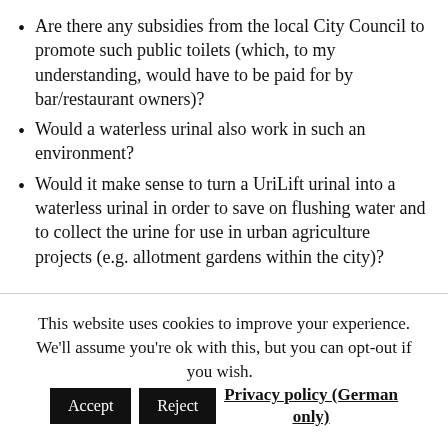Are there any subsidies from the local City Council to promote such public toilets (which, to my understanding, would have to be paid for by bar/restaurant owners)?
Would a waterless urinal also work in such an environment?
Would it make sense to turn a UriLift urinal into a waterless urinal in order to save on flushing water and to collect the urine for use in urban agriculture projects (e.g. allotment gardens within the city)?
This website uses cookies to improve your experience. We'll assume you're ok with this, but you can opt-out if you wish. Accept Reject Privacy policy (German only)